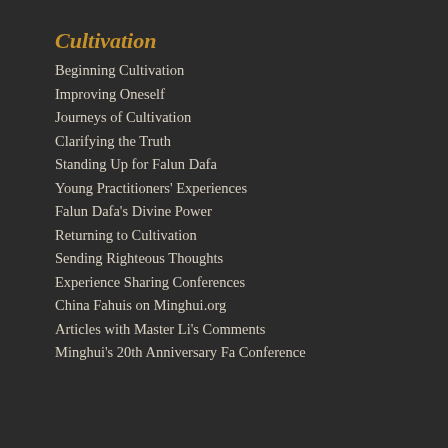Cultivation
Beginning Cultivation
Improving Oneself
Journeys of Cultivation
Clarifying the Truth
Standing Up for Falun Dafa
Young Practitioners' Experiences
Falun Dafa's Divine Power
Returning to Cultivation
Sending Righteous Thoughts
Experience Sharing Conferences
China Fahuis on Minghui.org
Articles with Master Li's Comments
Minghui's 20th Anniversary Fa Conference